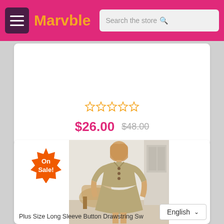Marvble — Search the store
[Figure (screenshot): Star rating: 5 empty/outline gold stars]
$26.00  $48.00
[Figure (photo): Plus size woman wearing a khaki long sleeve button drawstring swing dress, standing in a bright room with wicker chair]
On Sale!
Plus Size Long Sleeve Button Drawstring Sw
English